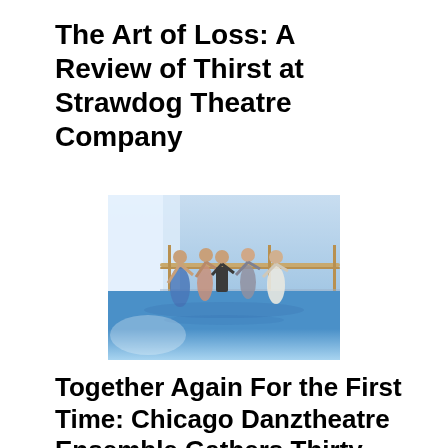The Art of Loss: A Review of Thirst at Strawdog Theatre Company
[Figure (photo): Dancers in motion in a dance studio with blue reflective floor and ballet barre in background. Five performers dancing energetically.]
Together Again For the First Time: Chicago Danztheatre Ensemble Gathers Thirty